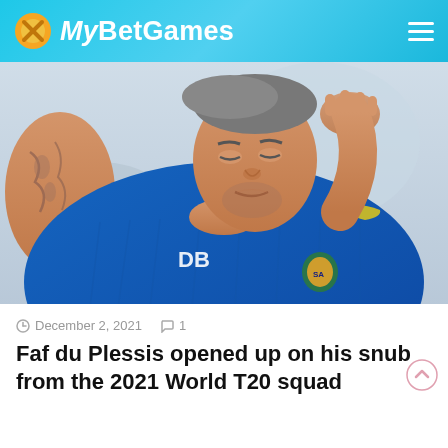MyBetGames
[Figure (photo): Faf du Plessis in a blue South Africa cricket training shirt, hand raised to head, looking downward with a pained expression]
December 2, 2021  1
Faf du Plessis opened up on his snub from the 2021 World T20 squad